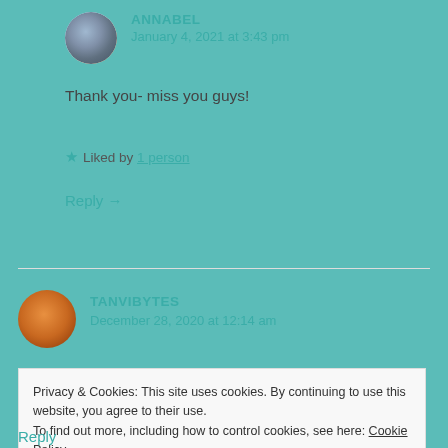ANNABEL
January 4, 2021 at 3:43 pm
Thank you- miss you guys!
★ Liked by 1 person
Reply →
TANVIBYTES
December 28, 2020 at 12:14 am
Privacy & Cookies: This site uses cookies. By continuing to use this website, you agree to their use.
To find out more, including how to control cookies, see here: Cookie Policy
Close and accept
Reply